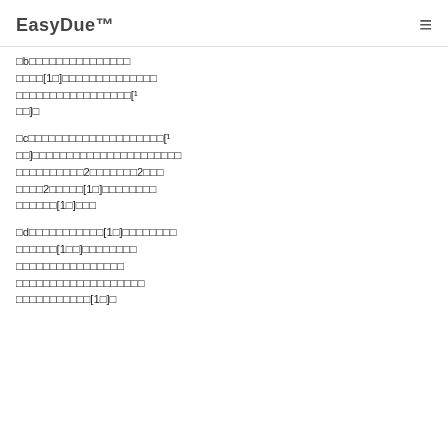EasyDue™
□b□□□□□□□□□□□□□□□ □□□□[1□]□□□□□□□□□□□□□□ □□□□□□□□□□□□□□□□□[¹ □□]□
□c□□□□□□□□□□□□□□□□□□□□[¹ □□]□□□□□□□□□□□□□□□□□□□□□□ □□□□□□□□□□2□□□□□□□2□□□ □□□□2□□□□□[1□]□□□□□□□□ □□□□□□[1□]□□□
□d□□□□□□□□□□□[1□]□□□□□□□□ □□□□□□[1□□]□□□□□□□□ □□□□□□□□□□□□□□□□ □□□□□□□□□□□□□□□□□□□ □□□□□□□□□□□[1□]□